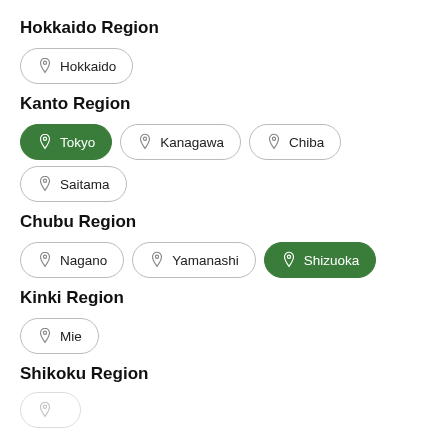Hokkaido Region
Hokkaido
Kanto Region
Tokyo (active/selected)
Kanagawa
Chiba
Saitama
Chubu Region
Nagano
Yamanashi
Shizuoka (active/selected)
Kinki Region
Mie
Shikoku Region